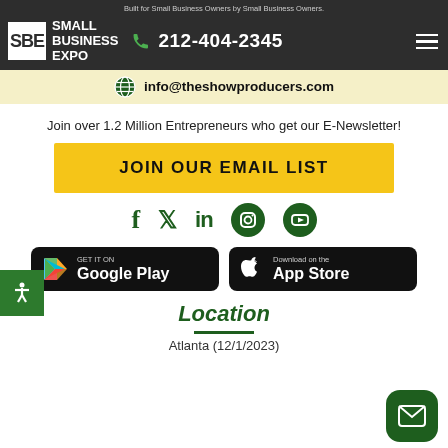Built for Small Business Owners by Small Business Owners.
[Figure (logo): Small Business Expo (SBE) logo with white SBE block and white text SMALL BUSINESS EXPO on dark background]
212-404-2345
info@theshowproducers.com
Join over 1.2 Million Entrepreneurs who get our E-Newsletter!
JOIN OUR EMAIL LIST
[Figure (illustration): Social media icons: Facebook, Twitter, LinkedIn, Instagram, YouTube in dark green]
[Figure (illustration): Google Play store badge - GET IT ON Google Play]
[Figure (illustration): Apple App Store badge - Download on the App Store]
Location
Atlanta (12/1/2023)